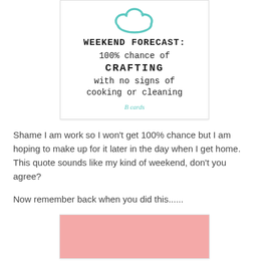[Figure (illustration): A decorative card with a teal hand-drawn cloud icon at top, followed by bold handwritten-style text: WEEKEND FORECAST: 100% chance of CRAFTING with no signs of cooking or cleaning, with a small teal cursive watermark at the bottom.]
Shame I am work so I won't get 100% chance but I am hoping to make up for it later in the day when I get home. This quote sounds like my kind of weekend, don't you agree?
Now remember back when you did this......
[Figure (photo): A pink/salmon colored image, partially visible at the bottom of the page.]